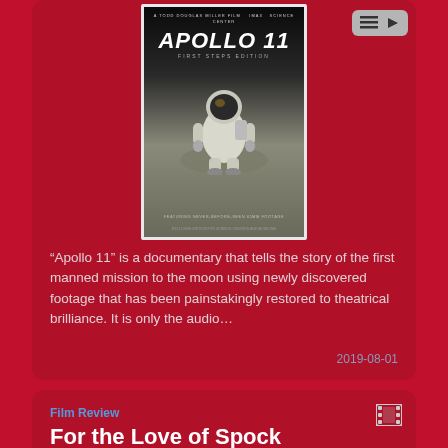[Figure (photo): Apollo 11 First Steps Edition movie poster showing an astronaut on the moon surface]
“Apollo 11” is a documentary that tells the story of the first manned mission to the moon using newly discovered footage that has been painstakingly restored to theatrical brilliance. It is only the audio…
2019-08-01
Film Review
For the Love of Spock
Directed by Adam Nimoy
[Figure (photo): Partial movie poster thumbnail for For the Love of Spock]